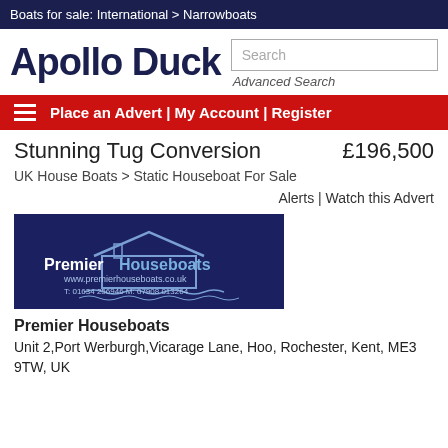Boats for sale: International > Narrowboats
[Figure (logo): Apollo Duck logo text in dark navy blue, bold large font]
Search
Advanced Search
Place an Advert | My Account | Register
Stunning Tug Conversion
£196,500
UK House Boats > Static Houseboat For Sale
Alerts | Watch this Advert
[Figure (logo): Premier Houseboats dealer logo on dark navy background with house/boat icon and website www.premierhouseboats.co.uk, T: 01634 256946 M: 07908 013264]
Premier Houseboats
Unit 2,Port Werburgh,Vicarage Lane, Hoo, Rochester, Kent, ME3 9TW, UK